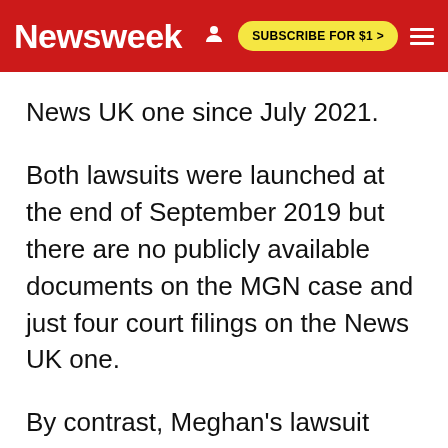Newsweek | SUBSCRIBE FOR $1 >
News UK one since July 2021.
Both lawsuits were launched at the end of September 2019 but there are no publicly available documents on the MGN case and just four court filings on the News UK one.
By contrast, Meghan's lawsuit against The Mail on Sunday, over the same time period, has been won, appealed and won again.